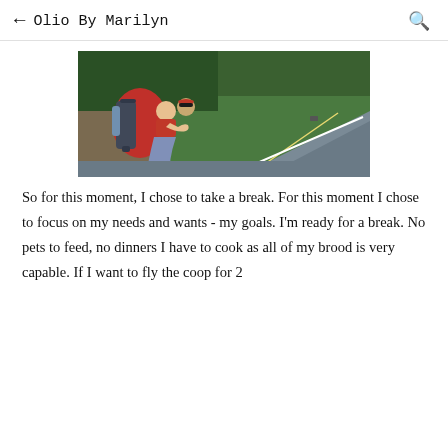← Olio By Marilyn 🔍
[Figure (photo): Two travelers (a woman with a red bandana and sunglasses wearing a red top and carrying a large red and black backpack, and another person) sitting on the side of a road, leaning against a wall, with a long straight road disappearing into green trees in the background and a car visible in the distance.]
So for this moment, I chose to take a break. For this moment I chose to focus on my needs and wants - my goals. I'm ready for a break. No pets to feed, no dinners I have to cook as all of my brood is very capable. If I want to fly the coop for 2